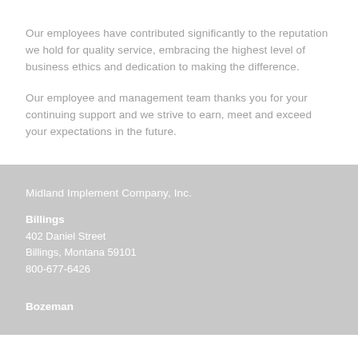Our employees have contributed significantly to the reputation we hold for quality service, embracing the highest level of business ethics and dedication to making the difference.
Our employee and management team thanks you for your continuing support and we strive to earn, meet and exceed your expectations in the future.
Midland Implement Company, Inc.
Billings
402 Daniel Street
Billings, Montana 59101
800-677-6426
Bozeman